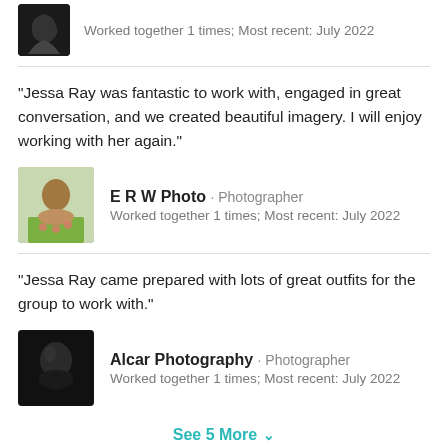Worked together 1 times; Most recent: July 2022
"Jessa Ray was fantastic to work with, engaged in great conversation, and we created beautiful imagery. I will enjoy working with her again."
E R W Photo · Photographer
Worked together 1 times; Most recent: July 2022
"Jessa Ray came prepared with lots of great outfits for the group to work with."
Alcar Photography · Photographer
Worked together 1 times; Most recent: July 2022
See 5 More
Tags